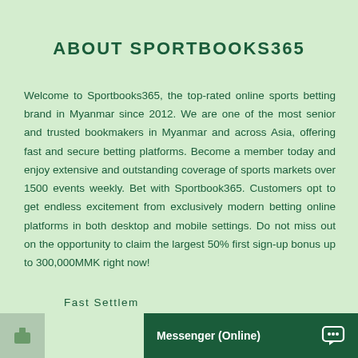ABOUT SPORTBOOKS365
Welcome to Sportbooks365, the top-rated online sports betting brand in Myanmar since 2012. We are one of the most senior and trusted bookmakers in Myanmar and across Asia, offering fast and secure betting platforms. Become a member today and enjoy extensive and outstanding coverage of sports markets over 1500 events weekly. Bet with Sportbook365. Customers opt to get endless excitement from exclusively modern betting online platforms in both desktop and mobile settings. Do not miss out on the opportunity to claim the largest 50% first sign-up bonus up to 300,000MMK right now!
Fast Settle
Messenger (Online)